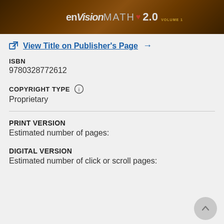[Figure (photo): Cropped textbook cover showing 'enVisionMATH 2.0 Volume 1' with brown/warm toned background]
View Title on Publisher's Page →
ISBN
9780328772612
COPYRIGHT TYPE
Proprietary
PRINT VERSION
Estimated number of pages:
DIGITAL VERSION
Estimated number of click or scroll pages: